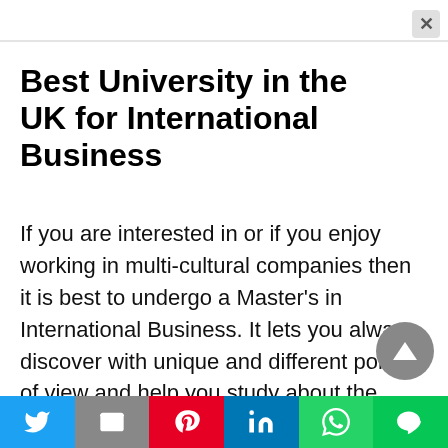Best University in the UK for International Business
If you are interested in or if you enjoy working in multi-cultural companies then it is best to undergo a Master's in International Business. It lets you always discover with unique and different points of view and help you study about the different culture and tradition. For some of the Specialization of international business areas, you can choose Entrepreneurship, international finance, international trade, and a few more.
Twitter | Gmail | Pinterest | LinkedIn | WhatsApp | Line